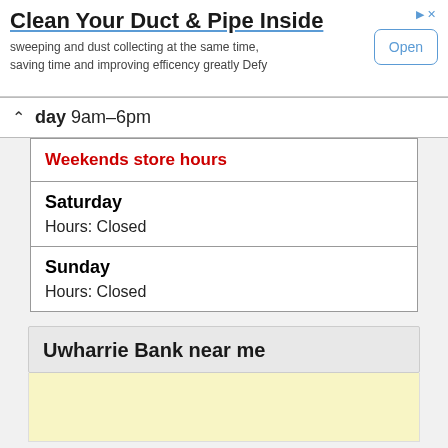[Figure (other): Advertisement banner: 'Clean Your Duct & Pipe Inside' with subtitle 'sweeping and dust collecting at the same time, saving time and improving efficency greatly Defy' and an 'Open' button]
day 9am–6pm
| Weekends store hours |
| Saturday
Hours: Closed |
| Sunday
Hours: Closed |
Uwharrie Bank near me
[Figure (map): Map or location area placeholder (yellow/cream background)]